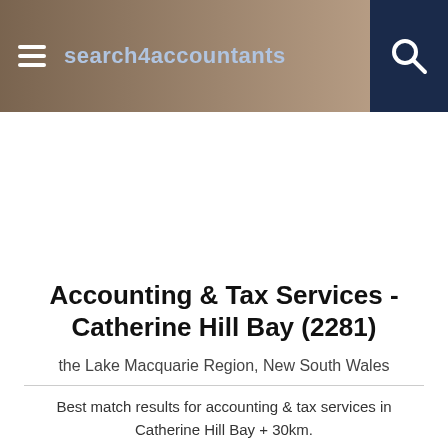search4accountants
Accounting & Tax Services - Catherine Hill Bay (2281)
the Lake Macquarie Region, New South Wales
Best match results for accounting & tax services in Catherine Hill Bay + 30km.